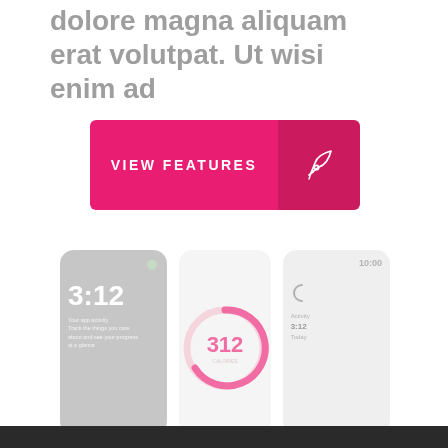dolore magna aliquam erat volutpat. Ut wisi enim ad
[Figure (infographic): Pink/magenta button reading VIEW FEATURES with a rocket ship icon on the right side]
[Figure (screenshot): Three smartwatch/app mockup screens showing: 1) a dark screen with time 3:12 and small text, 2) a screen with a pink circular progress ring and number 312, 3) a light screen with time 10:00 and additional text. All cards are faded/low opacity with rounded corners.]
[Figure (photo): Dark bottom bar/strip at the very bottom of the page]